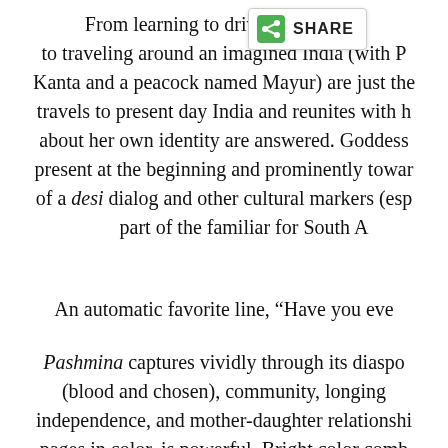From learning to drive w... spend... to traveling around an imagined India (with P... Kanta and a peacock named Mayur) are just the... travels to present day India and reunites with h... about her own identity are answered. Goddess... present at the beginning and prominently towar... of a desi dialog and other cultural markers (esp... part of the familiar for South A...
An automatic favorite line, "Have you eve...
Pashmina captures vividly through its diaspo... (blood and chosen), community, longing... independence, and mother-daughter relationshi... pages in color, is powerful. Bright color comb... present in the illustrations all contribute... overall, positive pi...